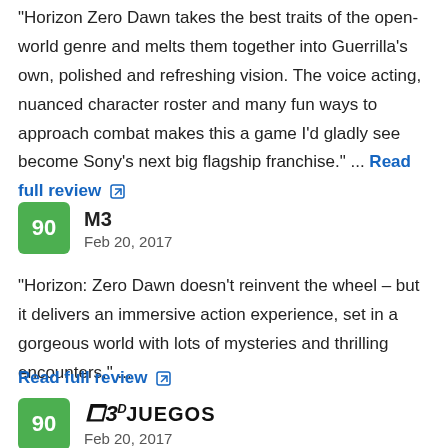"Horizon Zero Dawn takes the best traits of the open-world genre and melts them together into Guerrilla's own, polished and refreshing vision. The voice acting, nuanced character roster and many fun ways to approach combat makes this a game I'd gladly see become Sony's next big flagship franchise." ... Read full review
[Figure (other): Green score badge showing '90' and reviewer name 'M3' with date 'Feb 20, 2017']
"Horizon: Zero Dawn doesn't reinvent the wheel – but it delivers an immersive action experience, set in a gorgeous world with lots of mysteries and thrilling encounters." ...
Read full review
[Figure (logo): Green score badge showing '90' and 3DJuegos logo with date 'Feb 20, 2017']
"With its perfectly balanced free-roaming experience and an